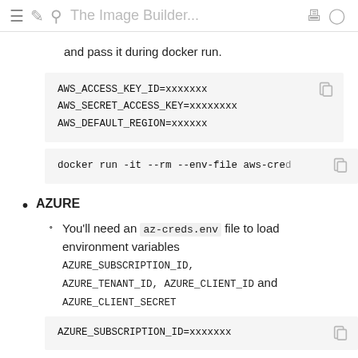≡ ✏ 🔍 The Image Builder... 🖨 ⌥
and pass it during docker run.
AWS_ACCESS_KEY_ID=xxxxxxx
AWS_SECRET_ACCESS_KEY=xxxxxxxx
AWS_DEFAULT_REGION=xxxxxx
docker run -it --rm --env-file aws-cred
AZURE
You'll need an az-creds.env file to load environment variables AZURE_SUBSCRIPTION_ID, AZURE_TENANT_ID, AZURE_CLIENT_ID and AZURE_CLIENT_SECRET
AZURE_SUBSCRIPTION_ID=xxxxxxx